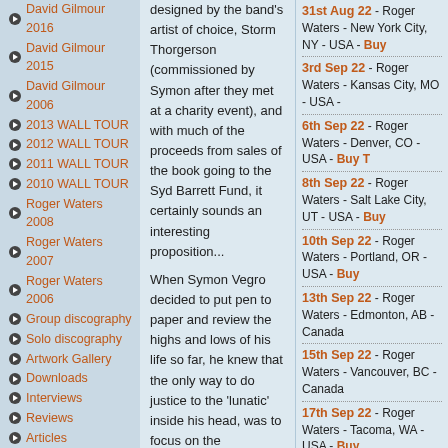David Gilmour 2016
David Gilmour 2015
David Gilmour 2006
2013 WALL TOUR
2012 WALL TOUR
2011 WALL TOUR
2010 WALL TOUR
Roger Waters 2008
Roger Waters 2007
Roger Waters 2006
Group discography
Solo discography
Artwork Gallery
Downloads
Interviews
Reviews
Articles
Obituaries
Contact Us
About BD
Sitemap
Statistics
We have 8 guests online
designed by the band's artist of choice, Storm Thorgerson (commissioned by Symon after they met at a charity event), and with much of the proceeds from sales of the book going to the Syd Barrett Fund, it certainly sounds an interesting proposition...
When Symon Vegro decided to put pen to paper and review the highs and lows of his life so far, he knew that the only way to do justice to the 'lunatic' inside his head, was to focus on the soundtrack that had accompanied the best and worst parts of his journey into adulthood. The result is "All That You Touch", an account of Vegro's most poignant moments and memories
31st Aug 22 - Roger Waters - New York City, NY - USA - Buy
3rd Sep 22 - Roger Waters - Kansas City, MO - USA -
6th Sep 22 - Roger Waters - Denver, CO - USA - Buy T
8th Sep 22 - Roger Waters - Salt Lake City, UT - USA - Buy
10th Sep 22 - Roger Waters - Portland, OR - USA - Buy
13th Sep 22 - Roger Waters - Edmonton, AB - Canada
15th Sep 22 - Roger Waters - Vancouver, BC - Canada
17th Sep 22 - Roger Waters - Tacoma, WA - USA - Buy
20th Sep 22 - Roger Waters - Sacramento, CA - USA -
22nd Sep 22 - Nick Mason's Saucerful Of Secrets - Boston - USA - Buy Tix
23rd Sep 22 - Roger Waters - San Francisco, CA - USA - Buy